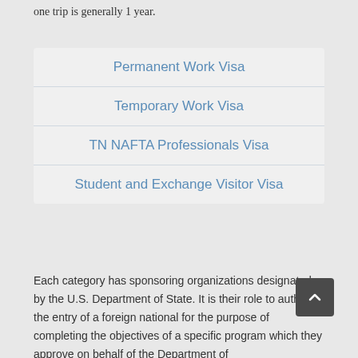one trip is generally 1 year.
Permanent Work Visa
Temporary Work Visa
TN NAFTA Professionals Visa
Student and Exchange Visitor Visa
Each category has sponsoring organizations designated by the U.S. Department of State. It is their role to authorize the entry of a foreign national for the purpose of completing the objectives of a specific program which they approve on behalf of the Department of